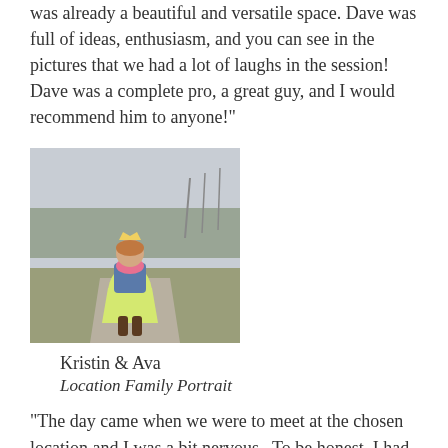was already a beautiful and versatile space. Dave was full of ideas, enthusiasm, and you can see in the pictures that we had a lot of laughs in the session! Dave was a complete pro, a great guy, and I would recommend him to anyone!"
[Figure (photo): A young girl wearing a crown, colorful dress with yellow skirt, pink scarf, denim jacket, and brown boots, standing on a path in a park with bare trees in the background.]
Kristin & Ava
Location Family Portrait
"The day came when we were to meet at the chosen location and I was a bit nervous.  To be honest, I had a sense of dread and just wanted to get it over with.  I was concerned that my 4 year old little girl would be intimidated by Dave as she